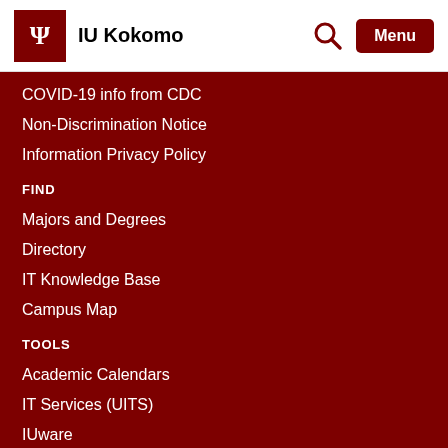IU Kokomo
COVID-19 info from CDC
Non-Discrimination Notice
Information Privacy Policy
FIND
Majors and Degrees
Directory
IT Knowledge Base
Campus Map
TOOLS
Academic Calendars
IT Services (UITS)
IUware
Report an Accessibility Concern